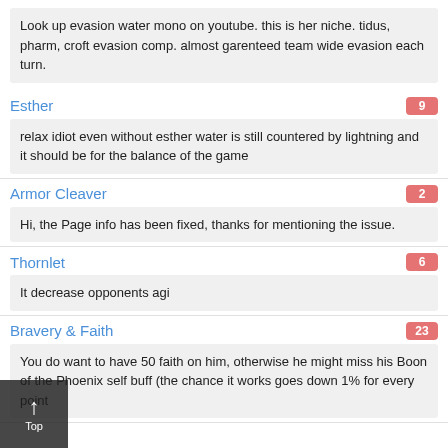Look up evasion water mono on youtube. this is her niche. tidus, pharm, croft evasion comp. almost garenteed team wide evasion each turn.
Esther
9
relax idiot even without esther water is still countered by lightning and it should be for the balance of the game
Armor Cleaver
2
Hi, the Page info has been fixed, thanks for mentioning the issue.
Thornlet
6
It decrease opponents agi
Bravery & Faith
23
You do want to have 50 faith on him, otherwise he might miss his Boon of the Phoenix self buff (the chance it works goes down 1% for every point